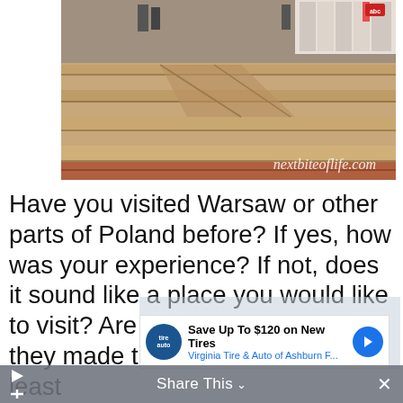[Figure (photo): Outdoor stone steps/monument with reddish-brown stone, people visible in background. Watermark 'nextbiteoflife.com' in cursive in bottom-right corner.]
Have you visited Warsaw or other parts of Poland before? If yes, how was your experience? If not, does it sound like a place you would like to visit? Are you curious as to how they made the new look old, or at least
[Figure (other): Advertisement overlay: 'Save Up To $120 on New Tires - Virginia Tire & Auto of Ashburn F...' with tire auto logo and navigation arrow icon.]
[Figure (other): Share This bar at the bottom with play button, Share This label with chevron, and X close button.]